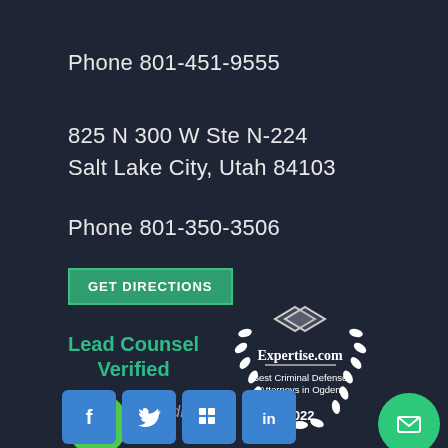Phone 801-451-9555
825 N 300 W Ste N-224
Salt Lake City, Utah 84103
Phone 801-350-3506
GET DIRECTIONS
Lead Counsel Verified
loading ...
[Figure (logo): Expertise.com badge - Best Criminal Defense Attorneys in Ogden 2022, with laurel wreath and diamond logo]
[Figure (infographic): Green phone icon circle, green email envelope icon circle, and social media icons (Facebook, Twitter, Google+, LinkedIn)]